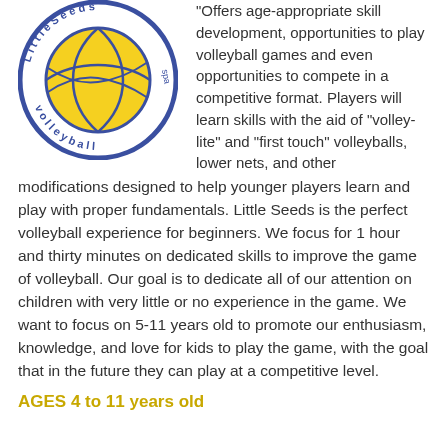[Figure (logo): Little Seeds Volleyball circular logo with a yellow volleyball in the center and text 'Little Seeds Volleyball' around the circle in blue]
Offers age-appropriate skill development, opportunities to play volleyball games and even opportunities to compete in a competitive format. Players will learn skills with the aid of “volley-lite” and “first touch” volleyballs, lower nets, and other modifications designed to help younger players learn and play with proper fundamentals. Little Seeds is the perfect volleyball experience for beginners. We focus for 1 hour and thirty minutes on dedicated skills to improve the game of volleyball. Our goal is to dedicate all of our attention on children with very little or no experience in the game. We want to focus on 5-11 years old to promote our enthusiasm, knowledge, and love for kids to play the game, with the goal that in the future they can play at a competitive level.
AGES 4 to 11 years old